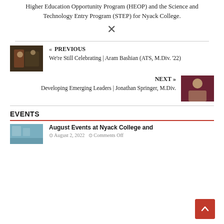Higher Education Opportunity Program (HEOP) and the Science and Technology Entry Program (STEP) for Nyack College.
[Figure (illustration): Xing/share icon symbol in gray]
« PREVIOUS
We're Still Celebrating | Aram Bashian (ATS, M.Div. '22)
[Figure (photo): Photo of graduation ceremony, two people on stage]
NEXT »
Developing Emerging Leaders | Jonathan Springer, M.Div.
[Figure (photo): Portrait photo of Jonathan Springer smiling, wearing jacket, dark red background]
EVENTS
[Figure (photo): Photo of an event or classroom with people and indoor lighting]
August Events at Nyack College and
August 2, 2022   Comments Off